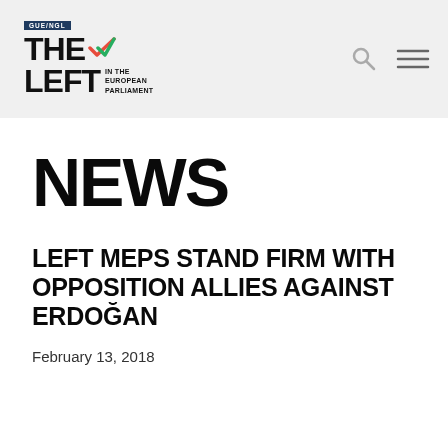[Figure (logo): The Left in the European Parliament logo with GUE/NGL text and checkmark in red/green]
GUE/NGL – THE LEFT IN THE EUROPEAN PARLIAMENT
NEWS
LEFT MEPS STAND FIRM WITH OPPOSITION ALLIES AGAINST ERDOĞAN
February 13, 2018